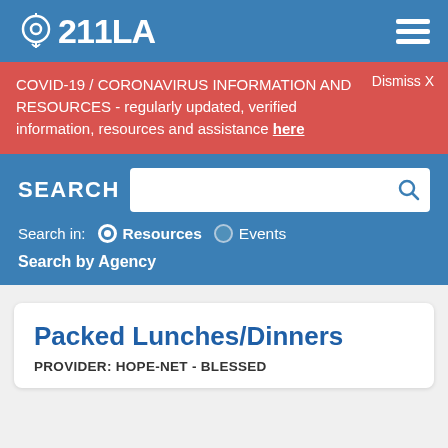211LA
COVID-19 / CORONAVIRUS INFORMATION AND RESOURCES - regularly updated, verified information, resources and assistance here
Dismiss X
SEARCH
Search in: Resources Events
Search by Agency
Packed Lunches/Dinners
PROVIDER: HOPE-NET - BLESSED